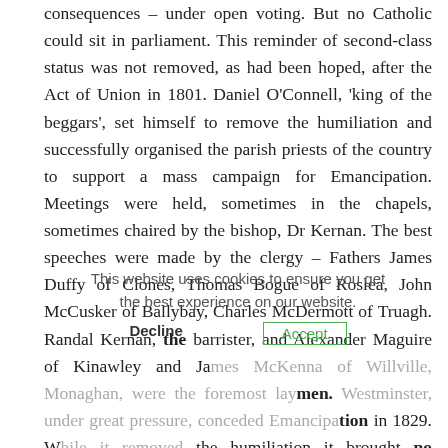consequences – under open voting. But no Catholic could sit in parliament. This reminder of second-class status was not removed, as had been hoped, after the Act of Union in 1801. Daniel O'Connell, 'king of the beggars', set himself to remove the humiliation and successfully organised the parish priests of the country to support a mass campaign for Emancipation. Meetings were held, sometimes in the chapels, sometimes chaired by the bishop, Dr Kernan. The best speeches were made by the clergy – Fathers James Duffy of Clones, Thomas Bogue of Roslea, John McCusker of Ballybay, Charles McDermott of Truagh. Randal Kernan, the barrister, and Alexander Maguire of Kinawley and James McKenna of Willville, Monaghan, were the foremost laymen. Westminster, under great pressure, conceded Emancipation in 1829. While it removed the humiliation it brought no practical improvement in the day-to-day life of Catholics: it was many years before a Catholic would sit in Westminster
This website uses cookies to ensure you get the best experience on our website.